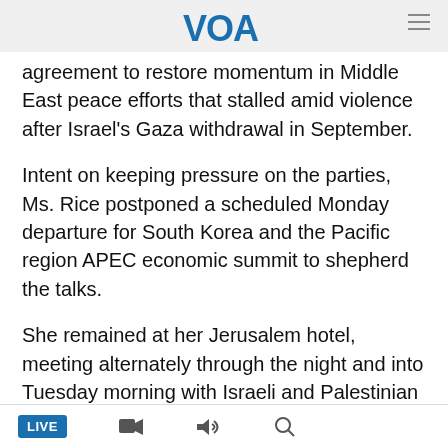VOA
agreement to restore momentum in Middle East peace efforts that stalled amid violence after Israel's Gaza withdrawal in September.
Intent on keeping pressure on the parties, Ms. Rice postponed a scheduled Monday departure for South Korea and the Pacific region APEC economic summit to shepherd the talks.
She remained at her Jerusalem hotel, meeting alternately through the night and into Tuesday morning with Israeli and Palestinian negotiating teams, while State Department aides constantly amended the draft agreement on a laptop computer.
Ms. Rice announced the completed agreement at a news
LIVE